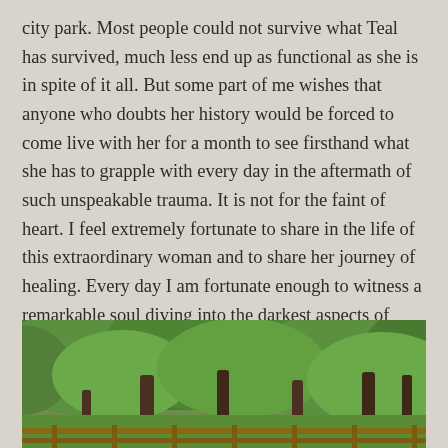city park. Most people could not survive what Teal has survived, much less end up as functional as she is in spite of it all. But some part of me wishes that anyone who doubts her history would be forced to come live with her for a month to see firsthand what she has to grapple with every day in the aftermath of such unspeakable trauma. It is not for the faint of heart. I feel extremely fortunate to share in the life of this extraordinary woman and to share her journey of healing. Every day I am fortunate enough to witness a remarkable soul diving into the darkest aspects of human consciousness and finding her way back home. And leading everyone else back home in the process.
[Figure (photo): A photograph of a lush green forested hillside with trees in the foreground, including brown tree trunks, dense green foliage covering a hillside, and a wooden fence or railing visible at the bottom edge of the image.]